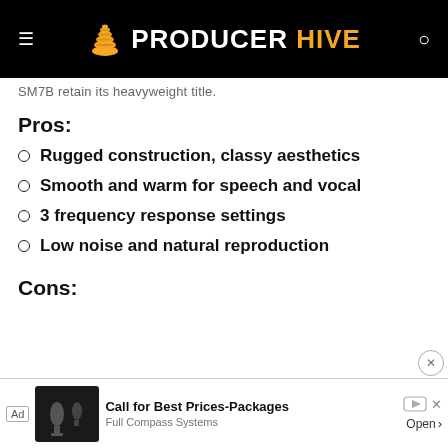PRODUCER HIVE
SM7B retain its heavyweight title.
Pros:
Rugged construction, classy aesthetics
Smooth and warm for speech and vocal
3 frequency response settings
Low noise and natural reproduction
Cons:
[Figure (screenshot): Ad banner: Call for Best Prices-Packages, Full Compass Systems, Open button]